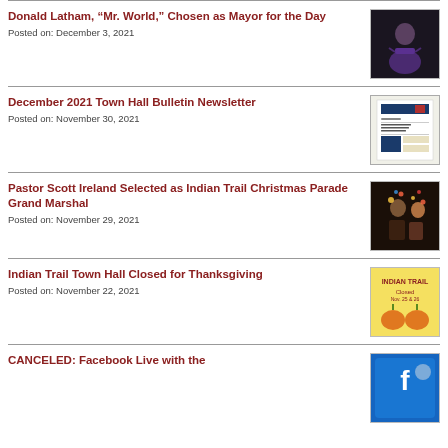Donald Latham, “Mr. World,” Chosen as Mayor for the Day
Posted on: December 3, 2021
December 2021 Town Hall Bulletin Newsletter
Posted on: November 30, 2021
Pastor Scott Ireland Selected as Indian Trail Christmas Parade Grand Marshal
Posted on: November 29, 2021
Indian Trail Town Hall Closed for Thanksgiving
Posted on: November 22, 2021
CANCELED: Facebook Live with the